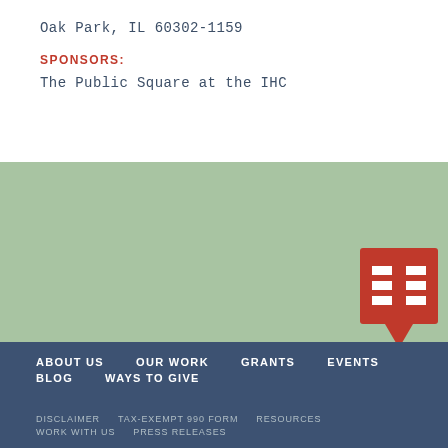Oak Park, IL 60302-1159
SPONSORS:
The Public Square at the IHC
[Figure (logo): IHC logo: red/crimson speech bubble icon with horizontal lines forming a stylized 'H' shape]
ABOUT US  OUR WORK  GRANTS  EVENTS  BLOG  WAYS TO GIVE
DISCLAIMER  TAX-EXEMPT 990 FORM  RESOURCES  WORK WITH US  PRESS RELEASES